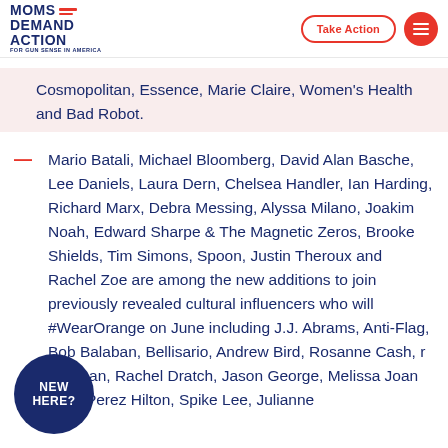Moms Demand Action For Gun Sense In America | Take Action
Cosmopolitan, Essence, Marie Claire, Women’s Health and Bad Robot.
Mario Batali, Michael Bloomberg, David Alan Basche, Lee Daniels, Laura Dern, Chelsea Handler, Ian Harding, Richard Marx, Debra Messing, Alyssa Milano, Joakim Noah, Edward Sharpe & The Magnetic Zeros, Brooke Shields, Tim Simons, Spoon, Justin Theroux and Rachel Zoe are among the new additions to join previously revealed cultural influencers who will #WearOrange on June including J.J. Abrams, Anti-Flag, Bob Balaban, Bellisario, Andrew Bird, Rosanne Cash, r Coffman, Rachel Dratch, Jason George, Melissa Joan Hart, Perez Hilton, Spike Lee, Julianne
[Figure (logo): NEW HERE? circle badge in dark blue]